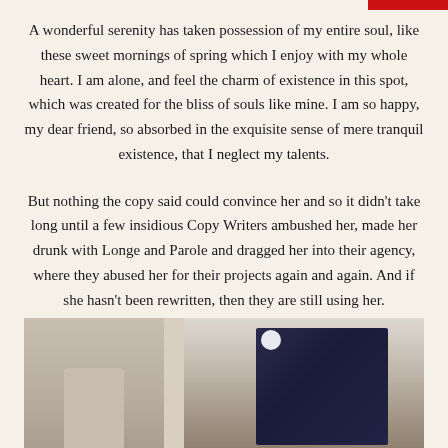A wonderful serenity has taken possession of my entire soul, like these sweet mornings of spring which I enjoy with my whole heart. I am alone, and feel the charm of existence in this spot, which was created for the bliss of souls like mine. I am so happy, my dear friend, so absorbed in the exquisite sense of mere tranquil existence, that I neglect my talents.
But nothing the copy said could convince her and so it didn't take long until a few insidious Copy Writers ambushed her, made her drunk with Longe and Parole and dragged her into their agency, where they abused her for their projects again and again. And if she hasn't been rewritten, then they are still using her.
[Figure (photo): Photo showing a person in a dark navy suit on the right side and a lighter background with a table on the left side, bottom portion of the page.]